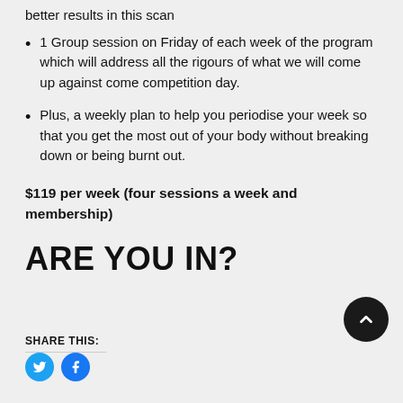better results in this scan
1 Group session on Friday of each week of the program which will address all the rigours of what we will come up against come competition day.
Plus, a weekly plan to help you periodise your week so that you get the most out of your body without breaking down or being burnt out.
$119 per week (four sessions a week and membership)
ARE YOU IN?
SHARE THIS: